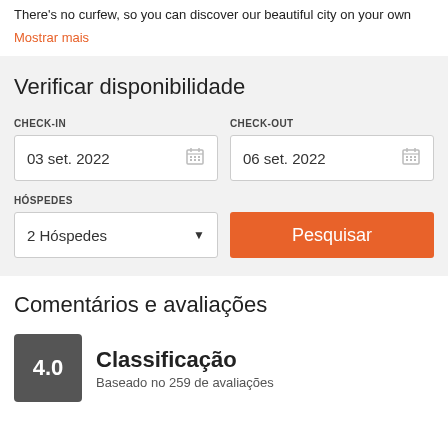There's no curfew, so you can discover our beautiful city on your own
Mostrar mais
Verificar disponibilidade
CHECK-IN
03 set. 2022
CHECK-OUT
06 set. 2022
HÓSPEDES
2 Hóspedes
Pesquisar
Comentários e avaliações
4.0
Classificação
Baseado no 259 de avaliações